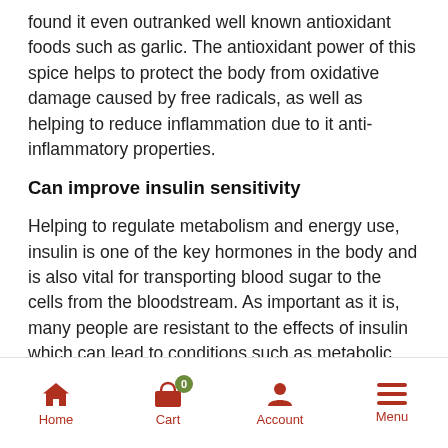found it even outranked well known antioxidant foods such as garlic. The antioxidant power of this spice helps to protect the body from oxidative damage caused by free radicals, as well as helping to reduce inflammation due to it anti-inflammatory properties.
Can improve insulin sensitivity
Helping to regulate metabolism and energy use, insulin is one of the key hormones in the body and is also vital for transporting blood sugar to the cells from the bloodstream. As important as it is, many people are resistant to the effects of insulin which can lead to conditions such as metabolic syndrome and type 2 diabetes. Cinnamon has
Home  Cart  Account  Menu